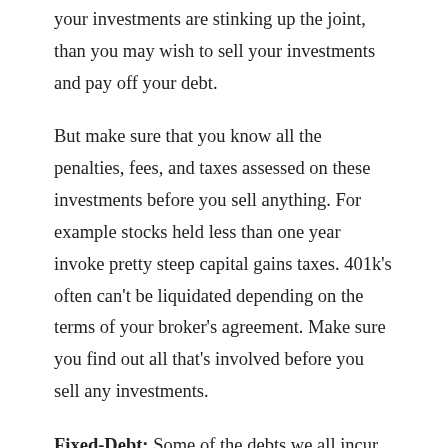your investments are stinking up the joint, than you may wish to sell your investments and pay off your debt.
But make sure that you know all the penalties, fees, and taxes assessed on these investments before you sell anything. For example stocks held less than one year invoke pretty steep capital gains taxes. 401k's often can't be liquidated depending on the terms of your broker's agreement. Make sure you find out all that's involved before you sell any investments.
Fixed-Debt: Some of the debts we all incur (student